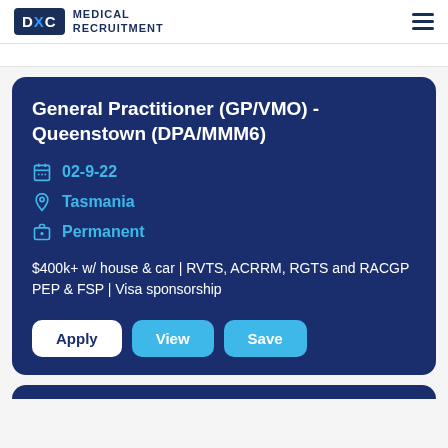DXC Medical Recruitment
General Practitioner (GP/VMO) - Queenstown (DPA/MMM6)
02-9-22
Tasmania
Permanent
$400k+ w/ house & car | RVTS, ACRRM, RGTS and RACGP PEP & FSP | Visa sponsorship